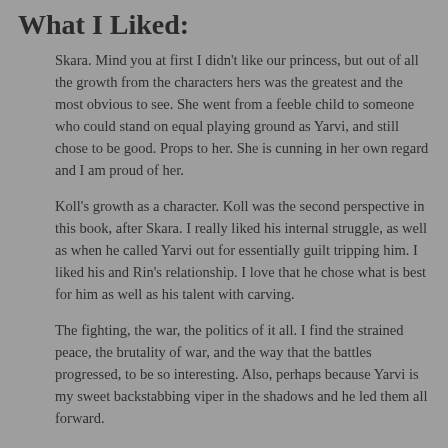What I Liked:
Skara. Mind you at first I didn't like our princess, but out of all the growth from the characters hers was the greatest and the most obvious to see. She went from a feeble child to someone who could stand on equal playing ground as Yarvi, and still chose to be good. Props to her. She is cunning in her own regard and I am proud of her.
Koll's growth as a character. Koll was the second perspective in this book, after Skara. I really liked his internal struggle, as well as when he called Yarvi out for essentially guilt tripping him. I liked his and Rin's relationship. I love that he chose what is best for him as well as his talent with carving.
The fighting, the war, the politics of it all. I find the strained peace, the brutality of war, and the way that the battles progressed, to be so interesting. Also, perhaps because Yarvi is my sweet backstabbing viper in the shadows and he led them all forward.